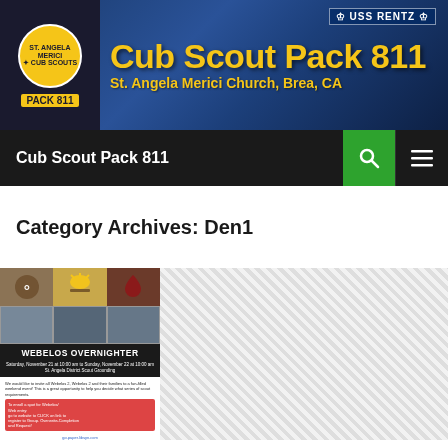[Figure (photo): Cub Scout Pack 811 website banner with logo showing wolf, USS Rentz ship in background, scouts in photos, yellow text 'Cub Scout Pack 811' and subtitle 'St. Angela Merici Church, Brea, CA']
Cub Scout Pack 811
Category Archives: Den1
[Figure (photo): Webelos Overnighter event flyer with icons, photos of scouts doing activities, black title bar reading 'WEBELOS OVERNIGHTER', date Saturday November 21 at 10:00 am to Sunday November 22 at 10:00 am, St. Angela District Scout Grounding, red alert box with registration info, link to go.paper.libsyn.com]
[Figure (other): Hatched/diagonal striped advertisement placeholder area]
DEN1, DEN2